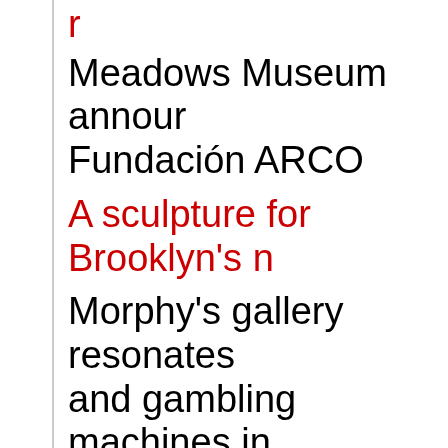Meadows Museum announces partnership with Fundación ARCO
A sculpture for Brooklyn's n…
Morphy's gallery resonates… and gambling machines in…
Stephen Dixon, author of e… dies at 83
Thai convent weaves 'beau… visit